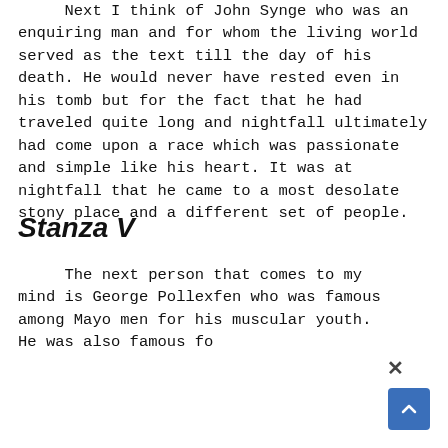Next I think of John Synge who was an enquiring man and for whom the living world served as the text till the day of his death. He would never have rested even in his tomb but for the fact that he had traveled quite long and nightfall ultimately had come upon a race which was passionate and simple like his heart. It was at nightfall that he came to a most desolate stony place and a different set of people.
Stanza V
The next person that comes to my mind is George Pollexfen who was famous among Mayo men for his muscular youth. He was also famous fo his...